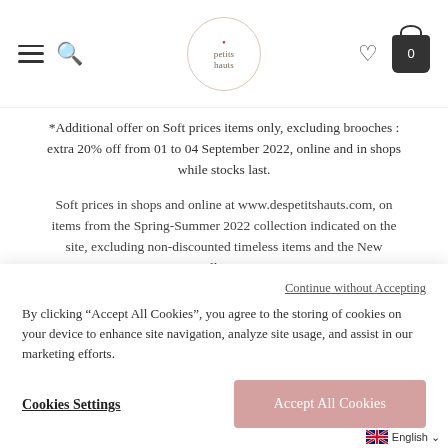petits hauts navigation header with hamburger menu, search, logo, heart and cart icons
*Additional offer on Soft prices items only, excluding brooches : extra 20% off from 01 to 04 September 2022, online and in shops while stocks last.
Soft prices in shops and online at www.despetitshauts.com, on items from the Spring-Summer 2022 collection indicated on the site, excluding non-discounted timeless items and the New Collection.
Continue without Accepting
By clicking “Accept All Cookies”, you agree to the storing of cookies on your device to enhance site navigation, analyze site usage, and assist in our marketing efforts.
Cookies Settings
Accept All Cookies
English